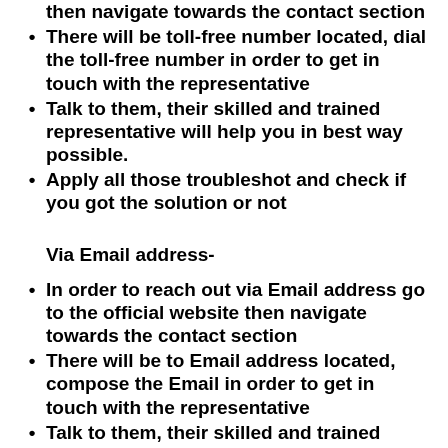then navigate towards the contact section
There will be toll-free number located, dial the toll-free number in order to get in touch with the representative
Talk to them, their skilled and trained representative will help you in best way possible.
Apply all those troubleshot and check if you got the solution or not
Via Email address-
In order to reach out via Email address go to the official website then navigate towards the contact section
There will be to Email address located, compose the Email in order to get in touch with the representative
Talk to them, their skilled and trained representative will help you in best way possible.